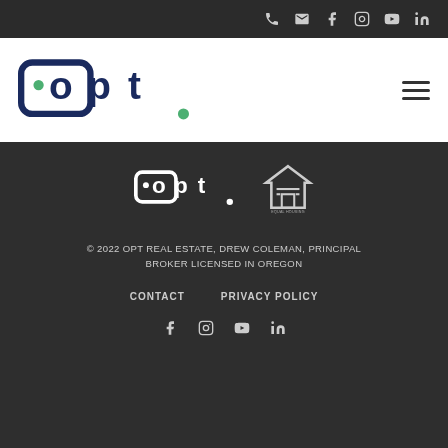Top navigation bar with phone, email, facebook, instagram, youtube, linkedin icons
[Figure (logo): Opt. real estate logo in dark navy blue with hamburger menu icon on right]
[Figure (logo): Footer with Opt. logo in white and Equal Housing Opportunity logo]
© 2022 OPT REAL ESTATE, DREW COLEMAN, PRINCIPAL BROKER LICENSED IN OREGON
CONTACT   PRIVACY POLICY
Social icons: facebook, instagram, youtube, linkedin